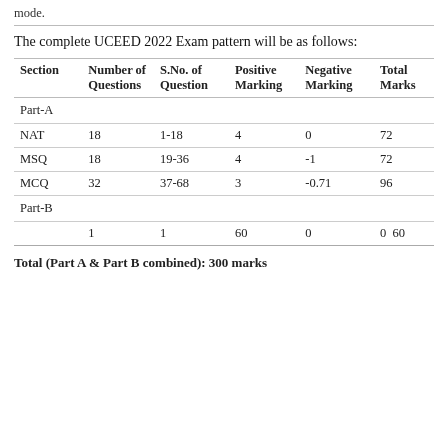mode.
The complete UCEED 2022 Exam pattern will be as follows:
| Section | Number of Questions | S.No. of Question | Positive Marking | Negative Marking | Total Marks |
| --- | --- | --- | --- | --- | --- |
| Part-A |  |  |  |  |  |
| NAT | 18 | 1-18 | 4 | 0 | 72 |
| MSQ | 18 | 19-36 | 4 | -1 | 72 |
| MCQ | 32 | 37-68 | 3 | -0.71 | 96 |
| Part-B |  |  |  |  |  |
|  | 1 | 1 | 60 | 0 | 0  60 |
Total (Part A & Part B combined): 300 marks